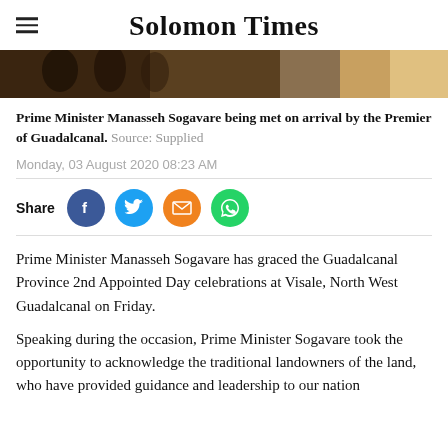Solomon Times
[Figure (photo): Photo strip showing people at an event, partially visible at the top of the article]
Prime Minister Manasseh Sogavare being met on arrival by the Premier of Guadalcanal.  Source: Supplied
Monday, 03 August 2020 08:23 AM
[Figure (infographic): Share row with Facebook, Twitter, Email, and WhatsApp social sharing buttons]
Prime Minister Manasseh Sogavare has graced the Guadalcanal Province 2nd Appointed Day celebrations at Visale, North West Guadalcanal on Friday.
Speaking during the occasion, Prime Minister Sogavare took the opportunity to acknowledge the traditional landowners of the land, who have provided guidance and leadership to our nation